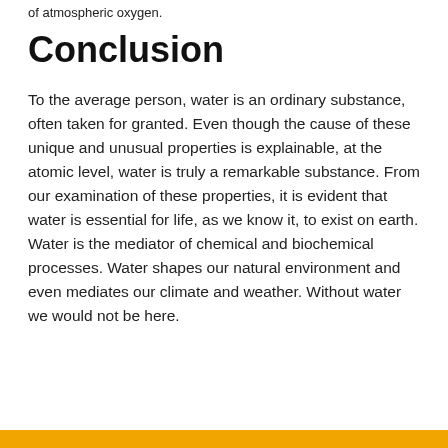of atmospheric oxygen.
Conclusion
To the average person, water is an ordinary substance, often taken for granted. Even though the cause of these unique and unusual properties is explainable, at the atomic level, water is truly a remarkable substance. From our examination of these properties, it is evident that water is essential for life, as we know it, to exist on earth. Water is the mediator of chemical and biochemical processes. Water shapes our natural environment and even mediates our climate and weather. Without water we would not be here.